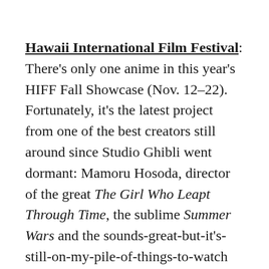Hawaii International Film Festival: There's only one anime in this year's HIFF Fall Showcase (Nov. 12–22). Fortunately, it's the latest project from one of the best creators still around since Studio Ghibli went dormant: Mamoru Hosoda, director of the great The Girl Who Leapt Through Time, the sublime Summer Wars and the sounds-great-but-it's-still-on-my-pile-of-things-to-watch Wolf Children. His latest movie, The Boy and the Beast, features loner Kyuta (side note: I seem to be writing a lot of synopses these days where the main character is described as a loner of some sort, aren't I?) embarking on an adventure-filled